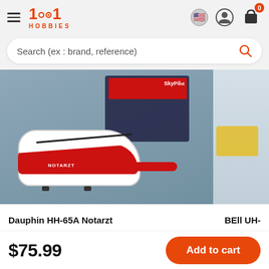1001 HOBBIES
Search (ex : brand, reference)
[Figure (photo): Photo of a Dauphin HH-65A Notarzt model helicopter (red and white livery) in front of its SkyPilot packaging box, on a grey-blue background. A second partially visible product is shown to the right.]
Dauphin HH-65A Notarzt
BEll UH-
$75.99
Add to cart